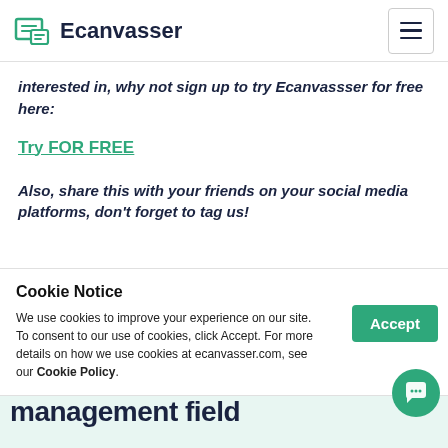Ecanvasser
interested in, why not sign up to try Ecanvassser for free here:
Try FOR FREE
Also, share this with your friends on your social media platforms, don't forget to tag us!
Cookie Notice
We use cookies to improve your experience on our site. To consent to our use of cookies, click Accept. For more details on how we use cookies at ecanvasser.com, see our Cookie Policy.